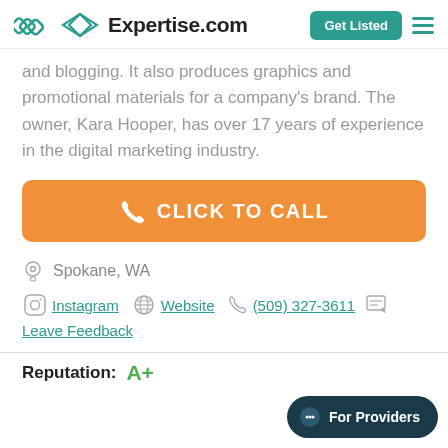Expertise.com | Get Listed
and blogging. It also produces graphics and promotional materials for a company's brand. The owner, Kara Hooper, has over 17 years of experience in the digital marketing industry.
CLICK TO CALL
Spokane, WA
Instagram  Website  (509) 327-3611  Leave Feedback
Reputation: A+